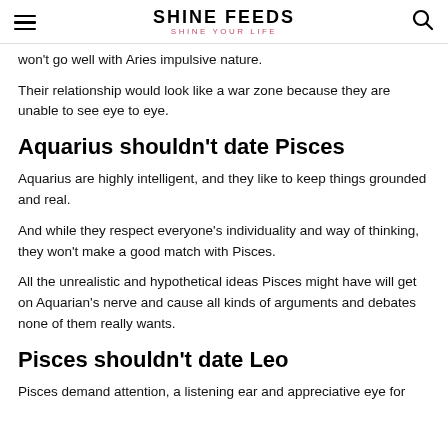SHINE FEEDS — SHINE YOUR LIFE
won't go well with Aries impulsive nature.
Their relationship would look like a war zone because they are unable to see eye to eye.
Aquarius shouldn't date Pisces
Aquarius are highly intelligent, and they like to keep things grounded and real.
And while they respect everyone's individuality and way of thinking, they won't make a good match with Pisces.
All the unrealistic and hypothetical ideas Pisces might have will get on Aquarian's nerve and cause all kinds of arguments and debates none of them really wants.
Pisces shouldn't date Leo
Pisces demand attention, a listening ear and appreciative eye for